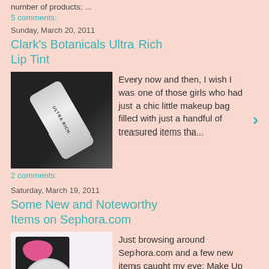number of products; ...
5 comments:
Sunday, March 20, 2011
Clark's Botanicals Ultra Rich Lip Tint
Every now and then, I wish I was one of those girls who had just a chic little makeup bag filled with just a handful of treasured items tha...
2 comments:
Saturday, March 19, 2011
Some New and Noteworthy Items on Sephora.com
Just browsing around Sephora.com and a few new items caught my eye: Make Up For Ever Tres Vichy Duo Eye Shadow Palette - $31 B enefit Feelin...
2 comments: